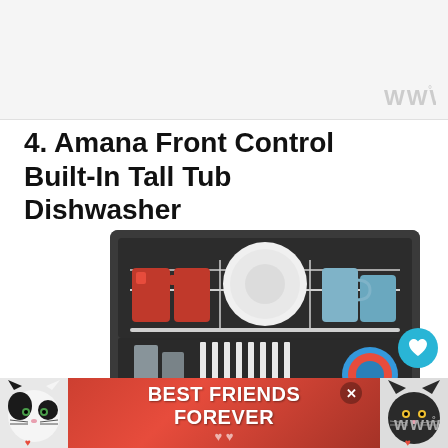w°
4. Amana Front Control Built-In Tall Tub Dishwasher
[Figure (photo): Interior of an Amana dishwasher showing the upper rack with red mugs on the left, a large white plate in the center, and blue/teal mugs on the right, with white dishes and glasses in the lower rack area.]
[Figure (infographic): Advertisement banner showing two cats and text 'BEST FRIENDS FOREVER' on a red background with heart icons.]